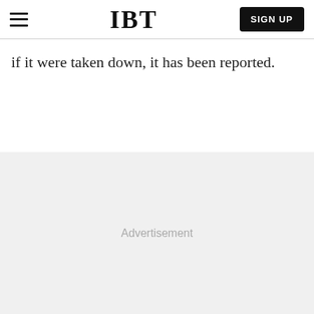IBT  SIGN UP
if it were taken down, it has been reported.
[Figure (other): Advertisement placeholder area with light gray background and the word 'Advertisement' centered in gray text.]